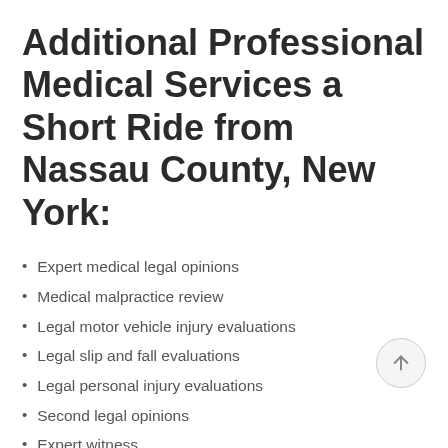Additional Professional Medical Services a Short Ride from Nassau County, New York:
Expert medical legal opinions
Medical malpractice review
Legal motor vehicle injury evaluations
Legal slip and fall evaluations
Legal personal injury evaluations
Second legal opinions
Expert witness
Medical legal case reviews